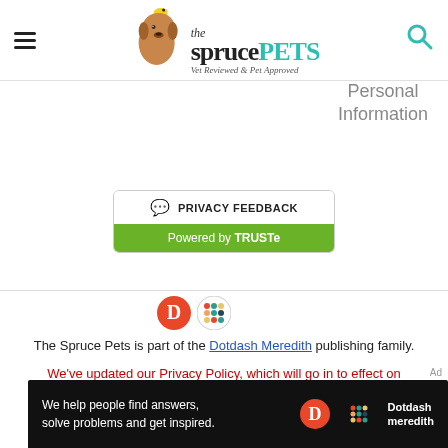[Figure (logo): The Spruce Pets logo with dog illustration, hamburger menu, and search icon]
Personal Information
[Figure (other): Privacy Feedback button powered by TRUSTe]
[Figure (logo): Dotdash Meredith logo]
The Spruce Pets is part of the Dotdash Meredith publishing family.
We've updated our Privacy Policy, which will go in to effect on September 1, 2022. Review our Privacy Policy
Ad
[Figure (other): Dotdash Meredith advertisement banner: We help people find answers, solve problems and get inspired.]